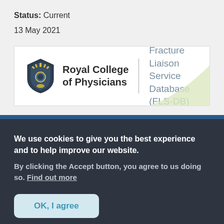Status: Current
13 May 2021
[Figure (logo): Royal College of Physicians logo with shield icon and text, alongside 'Fracture Liaison Service Database (FLS-DB)' text, separated by a vertical divider line. Green swoosh decoration in bottom-right corner.]
We use cookies to give you the best experience and to help improve our website.
By clicking the Accept button, you agree to us doing so. Find out more